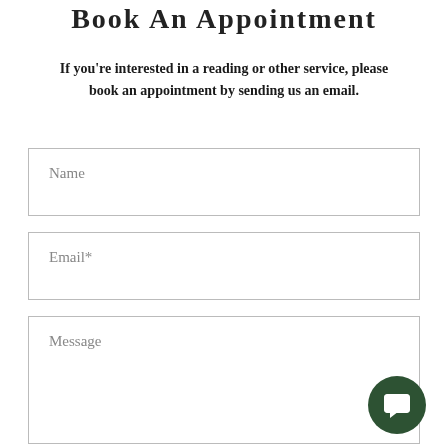Book An Appointment
If you're interested in a reading or other service, please book an appointment by sending us an email.
Name
Email*
Message
[Figure (illustration): Dark green circular chat bubble button icon in bottom right corner]